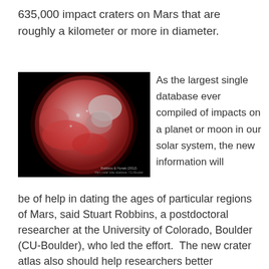635,000 impact craters on Mars that are roughly a kilometer or more in diameter.
[Figure (photo): False-color image of Mars showing a reddish planet surface with crater features against a black background. Credit: Robbins & Hynek (2012)]
As the largest single database ever compiled of impacts on a planet or moon in our solar system, the new information will be of help in dating the ages of particular regions of Mars, said Stuart Robbins, a postdoctoral researcher at the University of Colorado, Boulder (CU-Boulder), who led the effort. The new crater atlas also should help researchers better understand the history of water volcanism on Mars